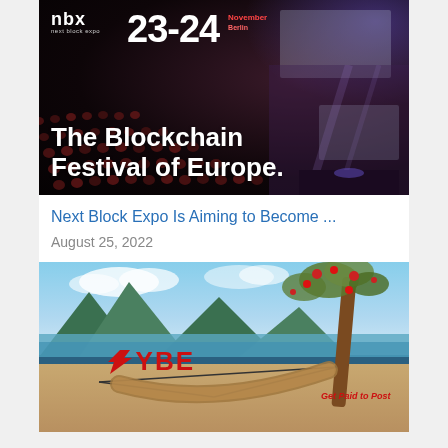[Figure (photo): NBX Next Block Expo conference hall photo showing audience in seats, stage with lights, and text overlay reading 'The Blockchain Festival of Europe.' with date 23-24 November 2022 Berlin]
Next Block Expo Is Aiming to Become ...
August 25, 2022
[Figure (photo): VYBE promotional image showing a tropical beach scene with hammock hanging from a tree, mountains in background, and red VYBE logo with tagline 'Get Paid to Post']